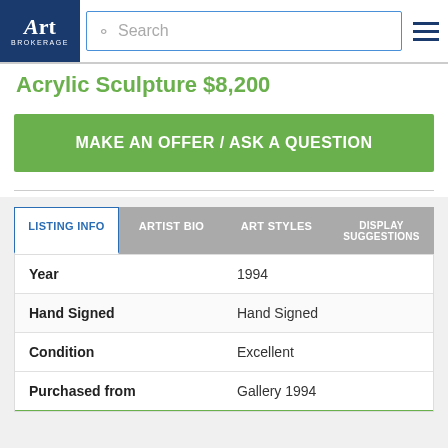Art Brokerage | Search
Acrylic Sculpture $8,200
MAKE AN OFFER / ASK A QUESTION
| Field | Value |
| --- | --- |
| Year | 1994 |
| Hand Signed | Hand Signed |
| Condition | Excellent |
| Purchased from | Gallery 1994 |